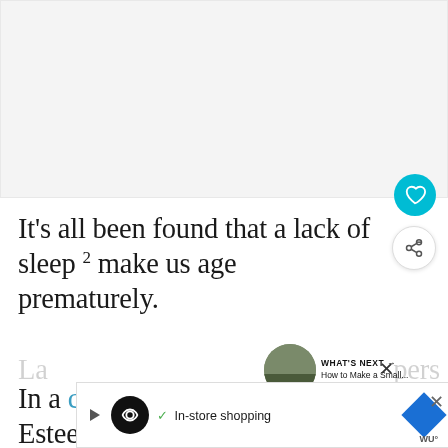[Figure (photo): Light grey blank/placeholder image area at top of page]
It’s all been found that a lack of sleep² make us age prematurely.
In a clinical study commissioned by Estee
La... pers
[Figure (screenshot): Advertisement bar at bottom: dark circle logo with infinity symbol, checkmark, In-store shopping text, blue diamond navigation icon, X close button]